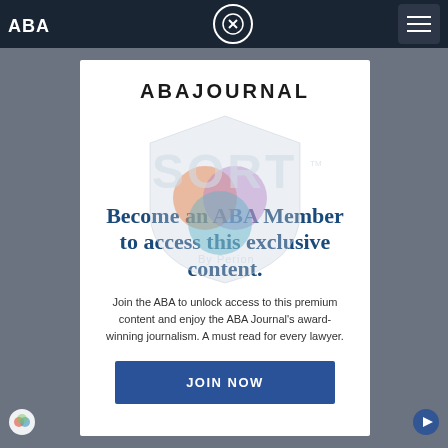ABA | [close button] | [menu button]
ABAJOURNAL
[Figure (logo): SORT by Perion watermark logo — shield shape with colorful overlapping circles inside, text 'SORT' and 'By Perion' below]
Become an ABA Member to access this exclusive content.
Join the ABA to unlock access to this premium content and enjoy the ABA Journal's award-winning journalism. A must read for every lawyer.
JOIN NOW